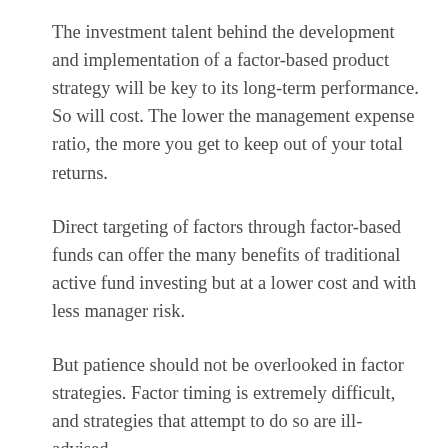The investment talent behind the development and implementation of a factor-based product strategy will be key to its long-term performance. So will cost. The lower the management expense ratio, the more you get to keep out of your total returns.
Direct targeting of factors through factor-based funds can offer the many benefits of traditional active fund investing but at a lower cost and with less manager risk.
But patience should not be overlooked in factor strategies. Factor timing is extremely difficult, and strategies that attempt to do so are ill-advised.
You therefore need to have patience